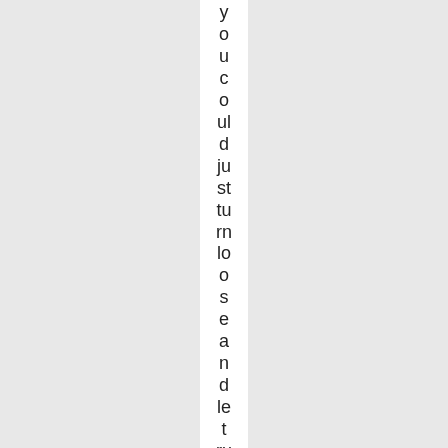you could just turn loose and let run. They were